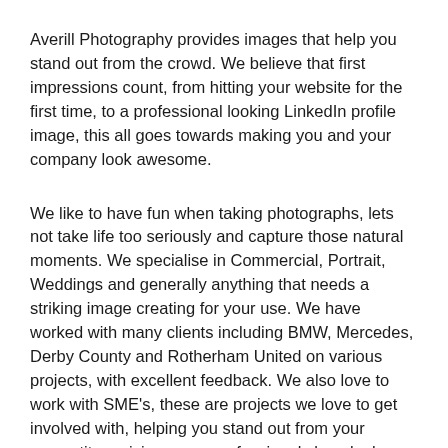Averill Photography provides images that help you stand out from the crowd. We believe that first impressions count, from hitting your website for the first time, to a professional looking LinkedIn profile image, this all goes towards making you and your company look awesome.
We like to have fun when taking photographs, lets not take life too seriously and capture those natural moments. We specialise in Commercial, Portrait, Weddings and generally anything that needs a striking image creating for your use. We have worked with many clients including BMW, Mercedes, Derby County and Rotherham United on various projects, with excellent feedback. We also love to work with SME's, these are projects we love to get involved with, helping you stand out from your competitors giving you a professional clean look.
We travel the UK to meet for a free consultation, and have lots of lovely testimonials from our clients on here, and on our Facebook page. It doesn't just stop with providing the images; we also help